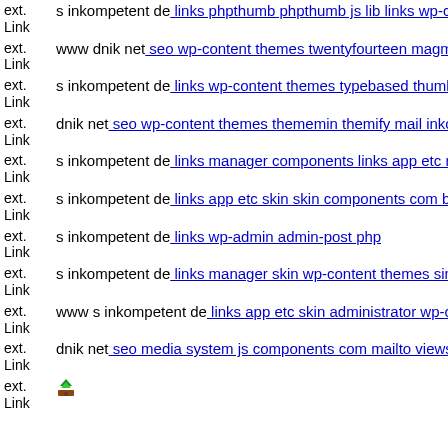ext. Link s inkompetent de: links phpthumb phpthumb js lib links wp-co...
ext. Link www dnik net: seo wp-content themes twentyfourteen magmi v...
ext. Link s inkompetent de: links wp-content themes typebased thumb ph...
ext. Link dnik net: seo wp-content themes thememin themify mail inkom...
ext. Link s inkompetent de: links manager components links app etc mai...
ext. Link s inkompetent de: links app etc skin skin components com b2jo...
ext. Link s inkompetent de: links wp-admin admin-post php
ext. Link s inkompetent de: links manager skin wp-content themes simpl...
ext. Link www s inkompetent de: links app etc skin administrator wp-co...
ext. Link dnik net: seo media system js components com mailto views lib...
ext. Link [icon]